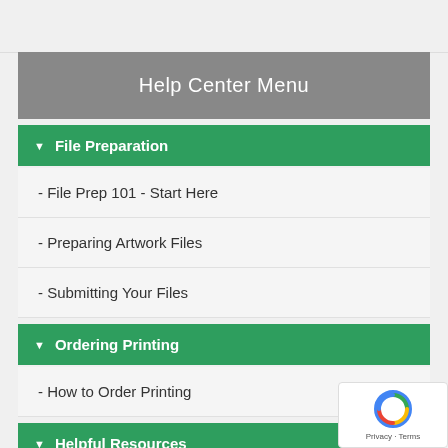Help Center Menu
File Preparation
- File Prep 101 - Start Here
- Preparing Artwork Files
- Submitting Your Files
Ordering Printing
- How to Order Printing
Helpful Resources
- The Reorder Forms Library
Your Account